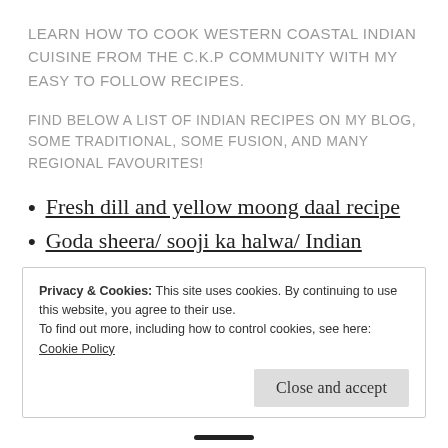LEARN HOW TO COOK WESTERN COASTAL INDIAN CUISINE FROM THE C.K.P COMMUNITY WITH MY EASY TO FOLLOW RECIPES.
FIND BELOW A LIST OF INDIAN RECIPES ON MY BLOG, SOME TRADITIONAL, SOME FUSION, AND MANY REGIONAL FAVOURITES!
Fresh dill and yellow moong daal recipe
Goda sheera/ sooji ka halwa/ Indian dessert
Privacy & Cookies: This site uses cookies. By continuing to use this website, you agree to their use.
To find out more, including how to control cookies, see here: Cookie Policy
Close and accept